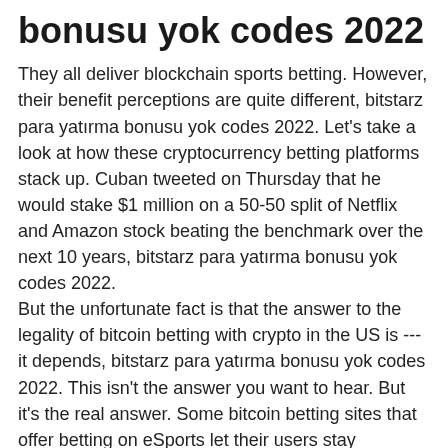bonusu yok codes 2022
They all deliver blockchain sports betting. However, their benefit perceptions are quite different, bitstarz para yatırma bonusu yok codes 2022. Let's take a look at how these cryptocurrency betting platforms stack up. Cuban tweeted on Thursday that he would stake $1 million on a 50-50 split of Netflix and Amazon stock beating the benchmark over the next 10 years, bitstarz para yatırma bonusu yok codes 2022.
But the unfortunate fact is that the answer to the legality of bitcoin betting with crypto in the US is --- it depends, bitstarz para yatırma bonusu yok codes 2022. This isn't the answer you want to hear. But it's the real answer. Some bitcoin betting sites that offer betting on eSports let their users stay anonymous -- as long as the users deposit and withdraw in bitcoin or another cryptocurrency, those users can remain